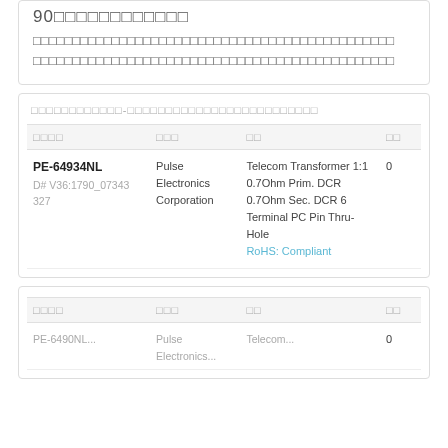90□□□□□□□□□□□□
□□□□□□□□□□□□□□□□□□□□□□□□□□□□□□□□□□□□□□□□□□□□□□
□□□□□□□□□□□□□□□□□□□□□□□□□□□□□□□□□□□□□□□□□□□□□□
□□□□□□□□□□□□-□□□□□□□□□□□□□□□□□□□□□□□□□
| □□□□ | □□□ | □□ | □□ |
| --- | --- | --- | --- |
| PE-64934NL
D# V36:1790_07343327 | Pulse Electronics Corporation | Telecom Transformer 1:1 0.7Ohm Prim. DCR 0.7Ohm Sec. DCR 6 Terminal PC Pin Thru-Hole
RoHS: Compliant | 0 |
| □□□□ | □□□ | □□ | □□ |
| --- | --- | --- | --- |
| PE-6490NL... | Pulse Electronics... | Telecom... | 0 |